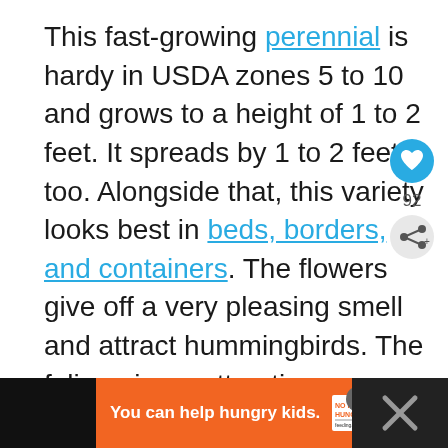This fast-growing perennial is hardy in USDA zones 5 to 10 and grows to a height of 1 to 2 feet. It spreads by 1 to 2 feet, too. Alongside that, this variety looks best in beds, borders, and containers. The flowers give off a very pleasing smell and attract hummingbirds. The foliage is an attractive green color and uplifts the look of any garden.
[Figure (infographic): Social interaction buttons: heart/like button (teal circle with heart icon), count showing 92, and share button (light circle with share icon)]
[Figure (infographic): Advertisement banner at bottom: orange background with text 'You can help hungry kids.' and No Kid Hungry logo and Learn How button, with close X button. Black section on right side.]